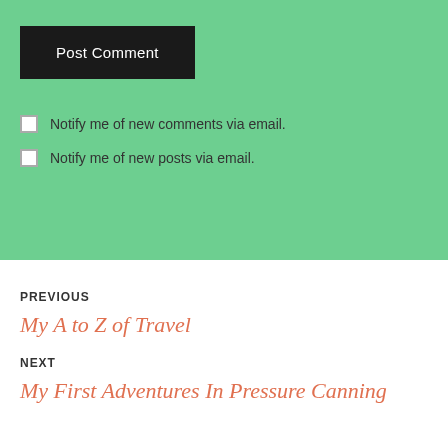Post Comment
Notify me of new comments via email.
Notify me of new posts via email.
PREVIOUS
My A to Z of Travel
NEXT
My First Adventures In Pressure Canning